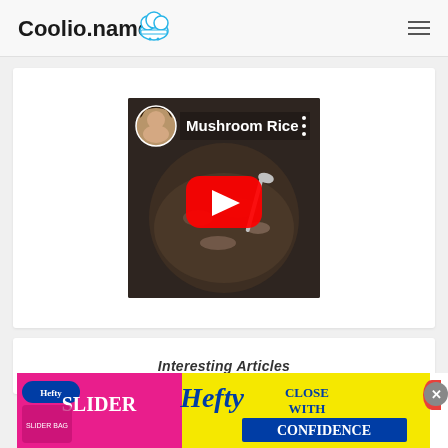Coolio.name
[Figure (screenshot): YouTube video thumbnail showing Mushroom Rice dish in a bowl with a spoon, with a red YouTube play button overlay and a channel avatar in top-left corner. Text 'Mushroom Rice' displayed on the thumbnail.]
Interesting Articles
[Figure (photo): Advertisement banner for Hefty Slider bags with text 'Hefty CLOSE WITH CONFIDENCE' on yellow and magenta background]